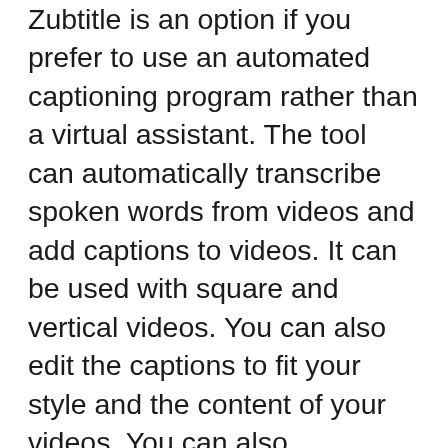Zubtitle is an option if you prefer to use an automated captioning program rather than a virtual assistant. The tool can automatically transcribe spoken words from videos and add captions to videos. It can be used with square and vertical videos. You can also edit the captions to fit your style and the content of your videos. You can also download.srt files that include subtitles.
Zubtitle allows creators to add subtitles and captions online to make videos look better. Powered by Google's speech-to-text technology, Zubtitle captions any video format. Simply upload your video to the tool, choose a caption style, then let Zubtitle do all the rest. The tool is free to use, and will help you increase your audience's